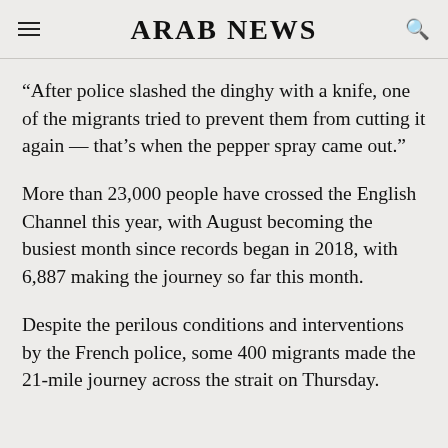ARAB NEWS
“After police slashed the dinghy with a knife, one of the migrants tried to prevent them from cutting it again — that’s when the pepper spray came out.”
More than 23,000 people have crossed the English Channel this year, with August becoming the busiest month since records began in 2018, with 6,887 making the journey so far this month.
Despite the perilous conditions and interventions by the French police, some 400 migrants made the 21-mile journey across the strait on Thursday.